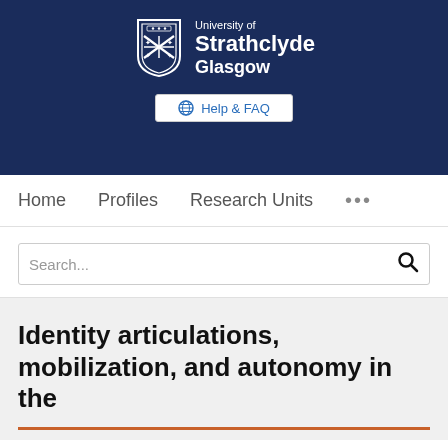[Figure (logo): University of Strathclyde Glasgow logo with shield emblem on navy blue background]
Help & FAQ
Home   Profiles   Research Units   ...
Search...
Identity articulations, mobilization, and autonomy in the
We use cookies to analyse and improve our service. Cookie Policy